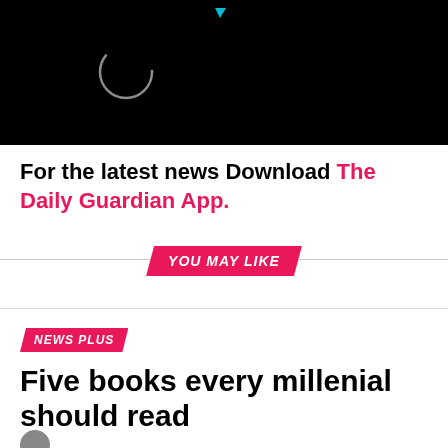[Figure (screenshot): Black video player area with a white circle loading spinner and a small blue triangle/play indicator at top]
For the latest news Download The Daily Guardian App.
YOU MAY LIKE
NEWS PLUS
Five books every millenial should read